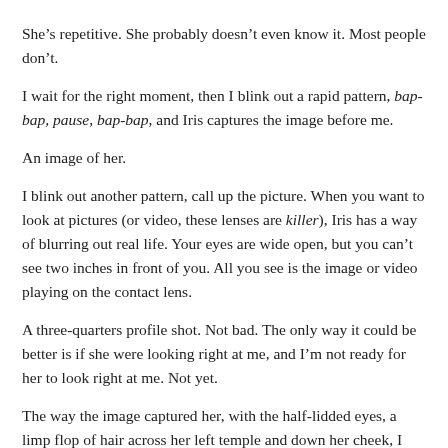She’s repetitive. She probably doesn’t even know it. Most people don’t.
I wait for the right moment, then I blink out a rapid pattern, bap-bap, pause, bap-bap, and Iris captures the image before me.
An image of her.
I blink out another pattern, call up the picture. When you want to look at pictures (or video, these lenses are killer), Iris has a way of blurring out real life. Your eyes are wide open, but you can’t see two inches in front of you. All you see is the image or video playing on the contact lens.
A three-quarters profile shot. Not bad. The only way it could be better is if she were looking right at me, and I’m not ready for her to look right at me. Not yet.
The way the image captured her, with the half-lidded eyes, a limp flop of hair across her left temple and down her cheek, I can tell she’s drunk. I like to think that’s because she knows she’s going to meet me later, but maybe that’s silly. I know I’m a hopeless romantic. In the movies, they act like being a romantic is a great thing, but sometimes it’s not. Sometimes, you just hurt inside, and you can’t figure out what to do.